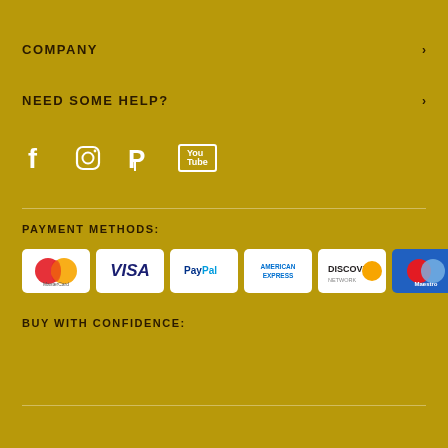COMPANY
NEED SOME HELP?
[Figure (illustration): Social media icons: Facebook, Instagram, Pinterest, YouTube]
PAYMENT METHODS:
[Figure (illustration): Payment method logos: MasterCard, VISA, PayPal, American Express, Discover Network, Maestro]
BUY WITH CONFIDENCE:
© Copyright 2022. All Rights Reserved to The Luxury Stores LLC